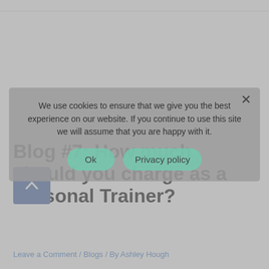Blog #7: How much should you charge as a Personal Trainer?
Leave a Comment / Blogs / By Ashley Hough
We use cookies to ensure that we give you the best experience on our website. If you continue to use this site we will assume that you are happy with it.
Ok
Privacy policy